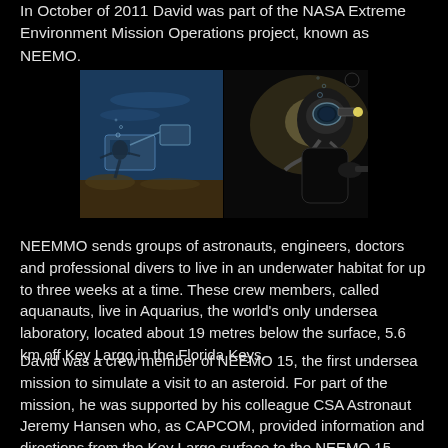In October of 2011 David was part of the NASA Extreme Environment Mission Operations project, known as NEEMO.
[Figure (photo): Two underwater/diving images side by side: left shows underwater scene with diver and equipment near the seafloor, right shows a diver in dark water with a light source.]
NEEMMO sends groups of astronauts, engineers, doctors and professional divers to live in an underwater habitat for up to three weeks at a time. These crew members, called aquanauts, live in Aquarius, the world's only undersea laboratory, located about 19 metres below the surface, 5.6 km off Key Largo in the Florida Keys.
David was a crew member of NEEMO 15, the first undersea mission to simulate a visit to an asteroid. For part of the mission, he was supported by his colleague CSA Astronaut Jeremy Hansen who, as CAPCOM, provided information and directions from the Key Largo surface to the NEEMO 15 team.